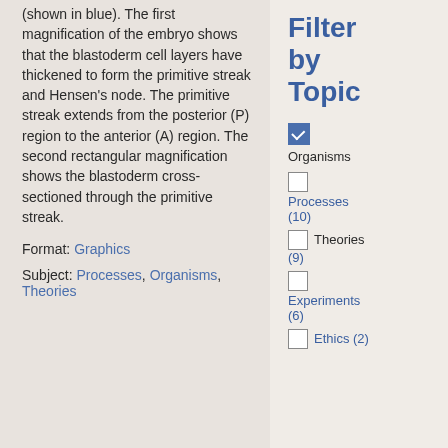(shown in blue). The first magnification of the embryo shows that the blastoderm cell layers have thickened to form the primitive streak and Hensen's node. The primitive streak extends from the posterior (P) region to the anterior (A) region. The second rectangular magnification shows the blastoderm cross-sectioned through the primitive streak.
Format: Graphics
Subject: Processes, Organisms, Theories
Filter by Topic
Organisms (checked)
Processes (10)
Theories (9)
Experiments (6)
Ethics (2)